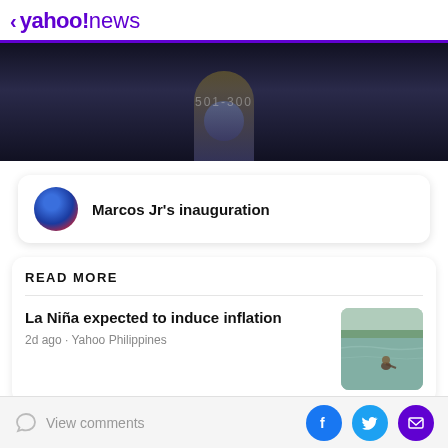< yahoo!news
[Figure (photo): Dark background hero image showing a figure, with overlay text '501-300']
Marcos Jr's inauguration
READ MORE
La Niña expected to induce inflation
2d ago · Yahoo Philippines
[Figure (photo): Thumbnail image showing a person in floodwater/river]
View comments